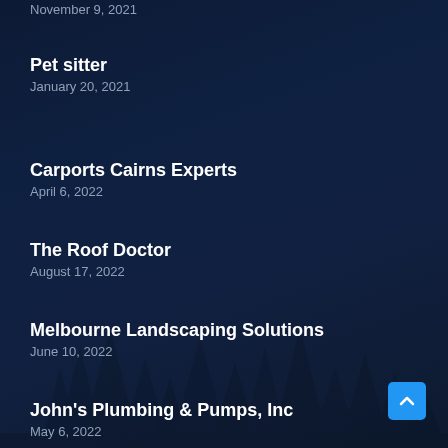November 9, 2021
Pet sitter
January 20, 2021
Carports Cairns Experts
April 6, 2022
The Roof Doctor
August 17, 2022
Melbourne Landscaping Solutions
June 10, 2022
John's Plumbing & Pumps, Inc
May 6, 2022